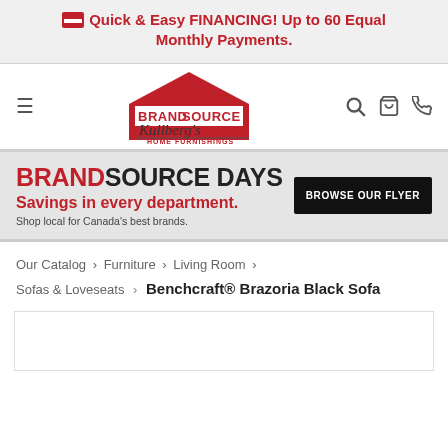Quick & Easy FINANCING! Up to 60 Equal Monthly Payments.
[Figure (logo): BrandSource Kullberg's Home Furnishings logo with house-shaped red emblem]
[Figure (infographic): BrandSource Days promotional banner: Savings in every department. Shop local for Canada's best brands. Browse Our Flyer button.]
Our Catalog › Furniture › Living Room › Sofas & Loveseats › Benchcraft® Brazoria Black Sofa